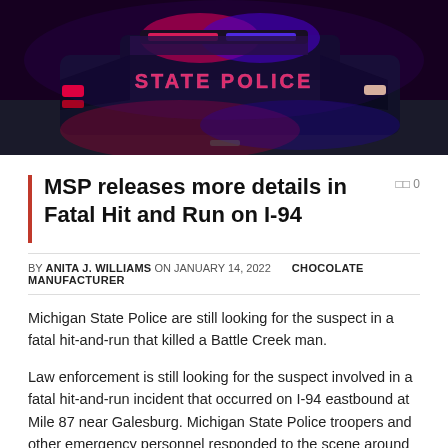[Figure (photo): Night photo of a Michigan State Police cruiser with red and blue lights flashing, 'STATE POLICE' visible on the vehicle]
MSP releases more details in Fatal Hit and Run on I-94
BY ANITA J. WILLIAMS ON JANUARY 14, 2022   CHOCOLATE MANUFACTURER
Michigan State Police are still looking for the suspect in a fatal hit-and-run that killed a Battle Creek man.
Law enforcement is still looking for the suspect involved in a fatal hit-and-run incident that occurred on I-94 eastbound at Mile 87 near Galesburg. Michigan State Police troopers and other emergency personnel responded to the scene around 8:00 p.m.